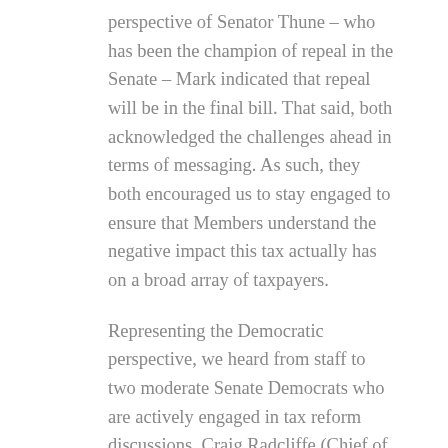perspective of Senator Thune – who has been the champion of repeal in the Senate – Mark indicated that repeal will be in the final bill. That said, both acknowledged the challenges ahead in terms of messaging. As such, they both encouraged us to stay engaged to ensure that Members understand the negative impact this tax actually has on a broad array of taxpayers.
Representing the Democratic perspective, we heard from staff to two moderate Senate Democrats who are actively engaged in tax reform discussions. Craig Radcliffe (Chief of Staff to Senator Heidi Heitkamp (D-ND)) and Andrew Lattimer (Chief of Staff to Senator Joe Donnell (D-IN)) both expressed a keen interest in bipartisan tax reform. Both Craig and Andrew suggested that while their bosses each have particular concerns with the Republican approach to tax reform, they are willing to engage and will look at the overall package based on what's in it.